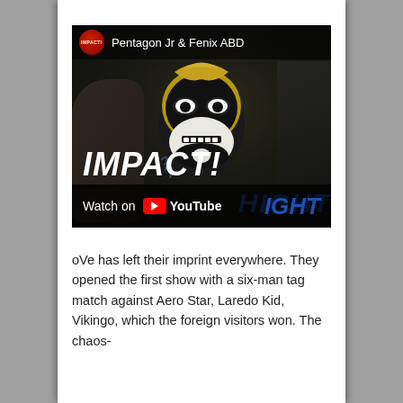[Figure (screenshot): YouTube video thumbnail showing a lucha libre wrestler wearing a black and gold mask, with IMPACT! branding and HIGHLIGHT text overlay. The video title reads 'Pentagon Jr & Fenix ABD'. A 'Watch on YouTube' overlay bar appears at the bottom of the thumbnail.]
oVe has left their imprint everywhere. They opened the first show with a six-man tag match against Aero Star, Laredo Kid, Vikingo, which the foreign visitors won. The chaos-